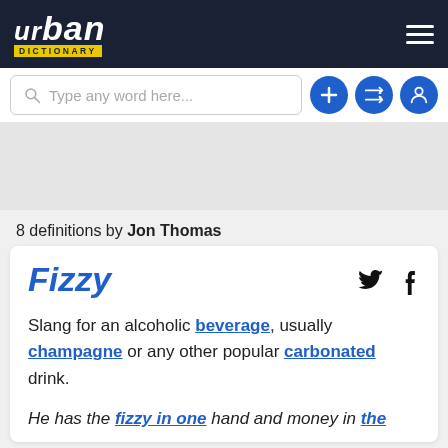Urban Dictionary
Type any word here...
8 definitions by Jon Thomas
Fizzy
Slang for an alcoholic beverage, usually champagne or any other popular carbonated drink.
He has the fizzy in one hand and money in the